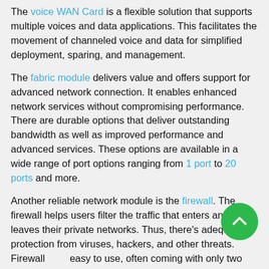The voice WAN Card is a flexible solution that supports multiple voices and data applications. This facilitates the movement of channeled voice and data for simplified deployment, sparing, and management.
The fabric module delivers value and offers support for advanced network connection. It enables enhanced network services without compromising performance. There are durable options that deliver outstanding bandwidth as well as improved performance and advanced services. These options are available in a wide range of port options ranging from 1 port to 20 ports and more.
Another reliable network module is the firewall. The firewall helps users filter the traffic that enters and leaves their private networks. Thus, there's adequate protection from viruses, hackers, and other threats. Firewalls are easy to use, often coming with only two options to allow or disallow network access. Therefore, users can be sure of the security of sensitive operational data.
Other network accessories ensure fast and effective